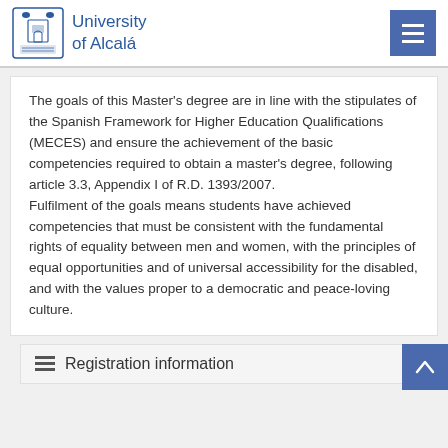University of Alcalá
The goals of this Master's degree are in line with the stipulates of the Spanish Framework for Higher Education Qualifications (MECES) and ensure the achievement of the basic competencies required to obtain a master's degree, following article 3.3, Appendix I of R.D. 1393/2007.
Fulfilment of the goals means students have achieved competencies that must be consistent with the fundamental rights of equality between men and women, with the principles of equal opportunities and of universal accessibility for the disabled, and with the values proper to a democratic and peace-loving culture.
Registration information